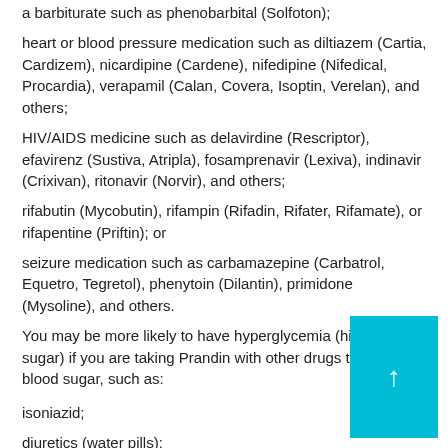a barbiturate such as phenobarbital (Solfoton);
heart or blood pressure medication such as diltiazem (Cartia, Cardizem), nicardipine (Cardene), nifedipine (Nifedical, Procardia), verapamil (Calan, Covera, Isoptin, Verelan), and others;
HIV/AIDS medicine such as delavirdine (Rescriptor), efavirenz (Sustiva, Atripla), fosamprenavir (Lexiva), indinavir (Crixivan), ritonavir (Norvir), and others;
rifabutin (Mycobutin), rifampin (Rifadin, Rifater, Rifamate), or rifapentine (Priftin); or
seizure medication such as carbamazepine (Carbatrol, Equetro, Tegretol), phenytoin (Dilantin), primidone (Mysoline), and others.
You may be more likely to have hyperglycemia (high blood sugar) if you are taking Prandin with other drugs that raise blood sugar, such as:
isoniazid;
diuretics (water pills);
steroids (prednisone and others);
phenothiazines (Compazine and others);
thyroid medicine (Synthroid and others);
birth control pills and other hormones;